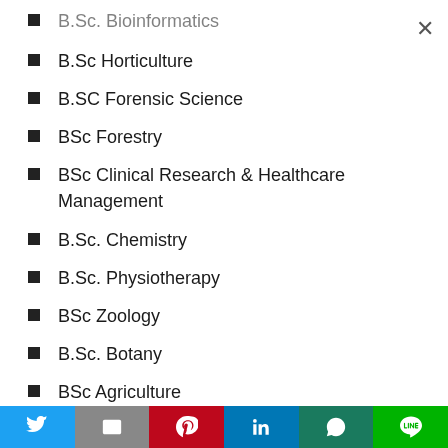B.Sc. Bioinformatics (truncated/partial)
B.Sc Horticulture
B.SC Forensic Science
BSc Forestry
BSc Clinical Research & Healthcare Management
B.Sc. Chemistry
B.Sc. Physiotherapy
BSc Zoology
B.Sc. Botany
BSc Agriculture